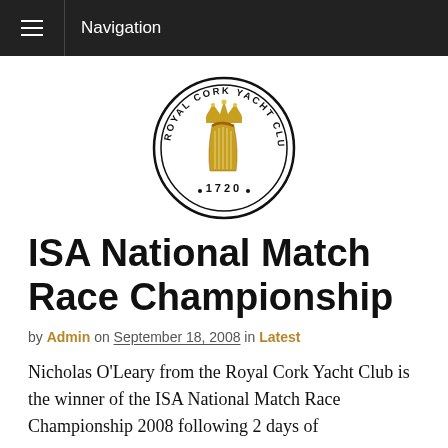Navigation
[Figure (logo): Royal Cork Yacht Club circular logo with crown and harp emblem, established 1720]
ISA National Match Race Championship
by Admin on September 18, 2008 in Latest
Nicholas O'Leary from the Royal Cork Yacht Club is the winner of the ISA National Match Race Championship 2008 following 2 days of